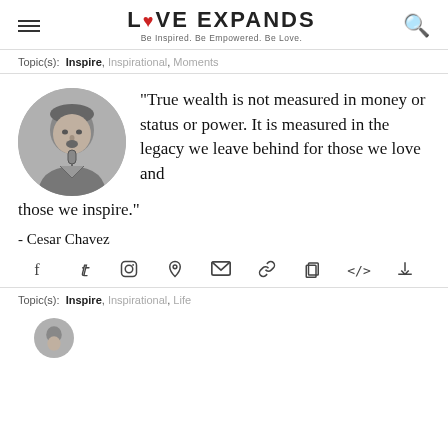LOVE EXPANDS — Be Inspired. Be Empowered. Be Love.
Topic(s): Inspire, Inspirational, Moments
“True wealth is not measured in money or status or power. It is measured in the legacy we leave behind for those we love and those we inspire.” - Cesar Chavez
Topic(s): Inspire, Inspirational, Life